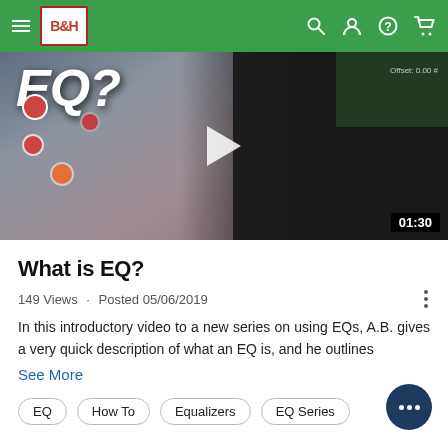B&H navigation bar with logo, search, account, help, and cart icons
[Figure (screenshot): Video thumbnail showing EQ text overlay, audio mixing board knobs on left, person in dark hoodie on right, play button in center, duration badge 01:30 in bottom right]
What is EQ?
149 Views · Posted 05/06/2019
In this introductory video to a new series on using EQs, A.B. gives a very quick description of what an EQ is, and he outlines
See More
EQ
How To
Equalizers
EQ Series